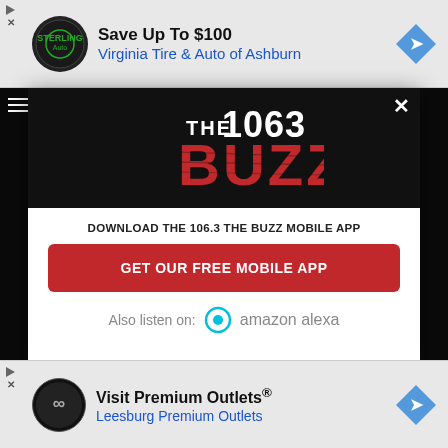[Figure (screenshot): Top advertisement banner: Save Up To $100, Virginia Tire & Auto of Ashburn]
[Figure (logo): The 1063 Buzz radio station logo in white and red on black background]
DOWNLOAD THE 106.3 THE BUZZ MOBILE APP
GET OUR FREE MOBILE APP
Also listen on: amazon alexa
[Figure (screenshot): Bottom advertisement banner: Visit Premium Outlets, Leesburg Premium Outlets]